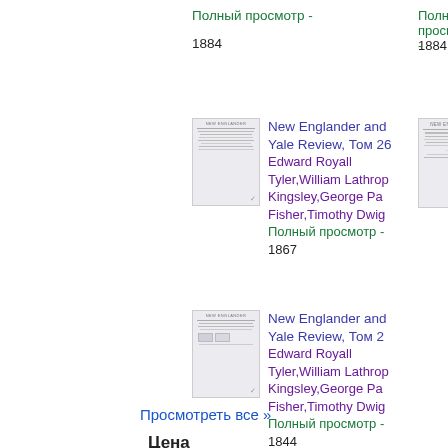Полный просмотр - 1884
[Figure (illustration): Thumbnail of New Englander and Yale Review book cover, Volume 26]
New Englander and Yale Review, Том 26
Edward Royall Tyler,William Lathrop Kingsley,George Pa Fisher,Timothy Dwig
Полный просмотр - 1867
[Figure (illustration): Thumbnail of New Englander and Yale Review book cover, Volume 2]
New Englander and Yale Review, Том 2
Edward Royall Tyler,William Lathrop Kingsley,George Pa Fisher,Timothy Dwig
Полный просмотр - 1844
Просмотреть все »
Цена